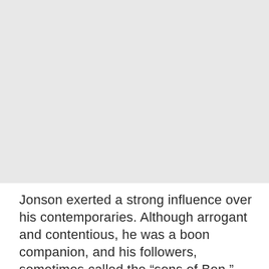[Figure (photo): A large grey/light image area occupying the upper portion of the page, appearing to be a photograph or illustration with no discernible detail visible.]
Jonson exerted a strong influence over his contemporaries. Although arrogant and contentious, he was a boon companion, and his followers, sometimes called the “sons of Ben,” loved to gather with him in the